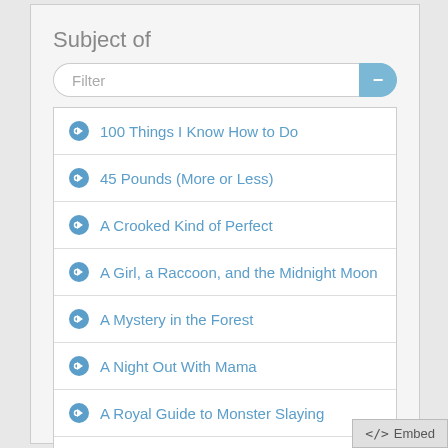Subject of
100 Things I Know How to Do
45 Pounds (More or Less)
A Crooked Kind of Perfect
A Girl, a Raccoon, and the Midnight Moon
A Mystery in the Forest
A Night Out With Mama
A Royal Guide to Monster Slaying
A Walk in the Words
A Weekend With Wendell
</>  Embed